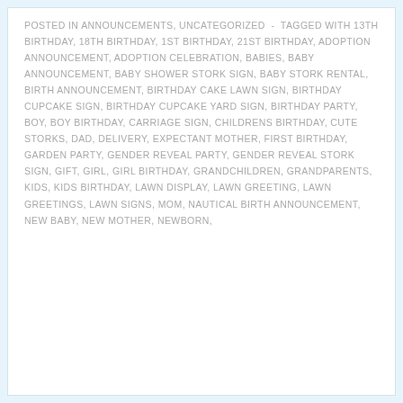POSTED IN ANNOUNCEMENTS, UNCATEGORIZED  -  TAGGED WITH 13TH BIRTHDAY, 18TH BIRTHDAY, 1ST BIRTHDAY, 21ST BIRTHDAY, ADOPTION ANNOUNCEMENT, ADOPTION CELEBRATION, BABIES, BABY ANNOUNCEMENT, BABY SHOWER STORK SIGN, BABY STORK RENTAL, BIRTH ANNOUNCEMENT, BIRTHDAY CAKE LAWN SIGN, BIRTHDAY CUPCAKE SIGN, BIRTHDAY CUPCAKE YARD SIGN, BIRTHDAY PARTY, BOY, BOY BIRTHDAY, CARRIAGE SIGN, CHILDRENS BIRTHDAY, CUTE STORKS, DAD, DELIVERY, EXPECTANT MOTHER, FIRST BIRTHDAY, GARDEN PARTY, GENDER REVEAL PARTY, GENDER REVEAL STORK SIGN, GIFT, GIRL, GIRL BIRTHDAY, GRANDCHILDREN, GRANDPARENTS, KIDS, KIDS BIRTHDAY, LAWN DISPLAY, LAWN GREETING, LAWN GREETINGS, LAWN SIGNS, MOM, NAUTICAL BIRTH ANNOUNCEMENT, NEW BABY, NEW MOTHER, NEWBORN,